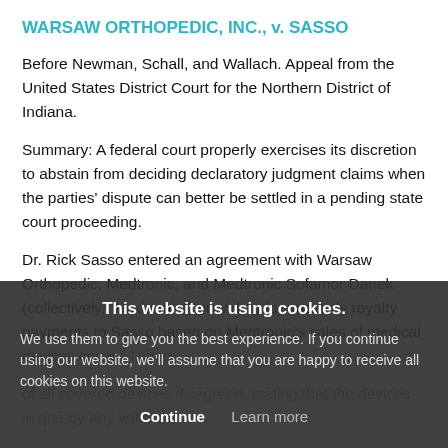WARSAW ORTHOPEDIC, INC., v. SASSO
Before Newman, Schall, and Wallach. Appeal from the United States District Court for the Northern District of Indiana.
Summary: A federal court properly exercises its discretion to abstain from deciding declaratory judgment claims when the parties' dispute can better be settled in a pending state court proceeding.
Dr. Rick Sasso entered an agreement with Warsaw Orthopedic, Medtronic, and Medtronic Sofamor Danek (collectively, “Medtronic”) providing for quarterly royalty payments to Sasso based on Medtronic’s sales of medical devices covered...issued
...of all covered devices...disagreed, stating that the devices in question...by any valid claim of Sasso’s patents. The state court below...
This website is using cookies.

We use them to give you the best experience. If you continue using our website, we’ll assume that you are happy to receive all cookies on this website.

Continue   Learn more